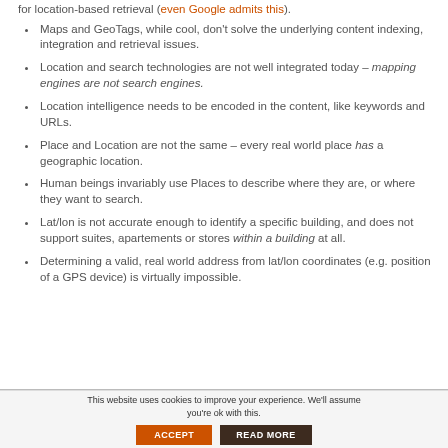for location-based retrieval (even Google admits this).
Maps and GeoTags, while cool, don't solve the underlying content indexing, integration and retrieval issues.
Location and search technologies are not well integrated today – mapping engines are not search engines.
Location intelligence needs to be encoded in the content, like keywords and URLs.
Place and Location are not the same – every real world place has a geographic location.
Human beings invariably use Places to describe where they are, or where they want to search.
Lat/lon is not accurate enough to identify a specific building, and does not support suites, apartements or stores within a building at all.
Determining a valid, real world address from lat/lon coordinates (e.g. position of a GPS device) is virtually impossible.
This website uses cookies to improve your experience. We'll assume you're ok with this. ACCEPT READ MORE